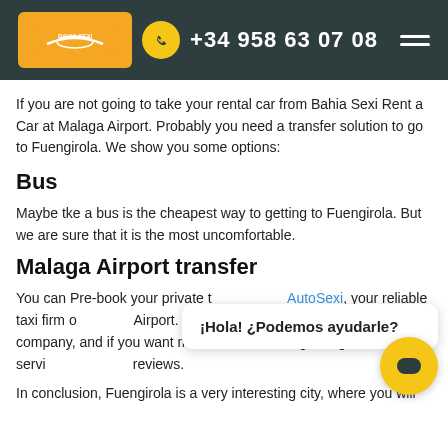+34 958 63 07 08
If you are not going to take your rental car from Bahia Sexi Rent a Car at Malaga Airport. Probably you need a transfer solution to go to Fuengirola. We show you some options:
Bus
Maybe tke a bus is the cheapest way to getting to Fuengirola. But we are sure that it is the most uncomfortable.
Malaga Airport transfer
You can Pre-book your private transfer with AutoSexi, your reliable taxi firm. AutoSexi is rated as the best transfer company, and if you want more information regarding our transfer service, check our reviews.
In conclusion, Fuengirola is a very interesting city, where you will